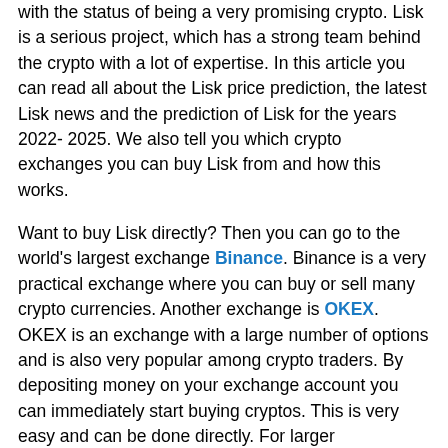with the status of being a very promising crypto. Lisk is a serious project, which has a strong team behind the crypto with a lot of expertise. In this article you can read all about the Lisk price prediction, the latest Lisk news and the prediction of Lisk for the years 2022- 2025. We also tell you which crypto exchanges you can buy Lisk from and how this works.
Want to buy Lisk directly? Then you can go to the world's largest exchange Binance. Binance is a very practical exchange where you can buy or sell many crypto currencies. Another exchange is OKEX. OKEX is an exchange with a large number of options and is also very popular among crypto traders. By depositing money on your exchange account you can immediately start buying cryptos. This is very easy and can be done directly. For larger investments it is necessary to verify your account, but this only applies from a certain amount.
As you can visit the already the amount of the ...